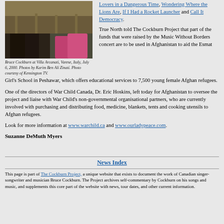[Figure (photo): Bruce Cockburn at Villa Arcanati, Varese, Italy, July 6, 2000. Photo of feet/lower body near colorful objects.]
Bruce Cockburn at Villa Arcanati, Varese, Italy, July 6, 2000. Photos by Karim Ben Ali Zinati. Photo courtesy of Kensington TV.
Lovers in a Dangerous Time, Wondering Where the Lions Are, If I Had a Rocket Launcher and Call It Democracy. True North told The Cockburn Project that part of the funds that were raised by the Music Without Borders concert are to be used in Afghanistan to aid the Esmat Girl's School in Peshawar, which offers educational services to 7,500 young female Afghan refugees.
One of the directors of War Child Canada, Dr. Eric Hoskins, left today for Afghanistan to oversee the project and liaise with War Child's non-governmental organisational partners, who are currently involved with purchasing and distributing food, medicine, blankets, tents and cooking utensils to Afghan refugees.
Look for more information at www.warchild.ca and www.ourladypeace.com.
Suzanne DeMuth Myers
News Index
This page is part of The Cockburn Project, a unique website that exists to document the work of Canadian singer-songwriter and musician Bruce Cockburn. The Project archives self-commentary by Cockburn on his songs and music, and supplements this core part of the website with news, tour dates, and other current information.